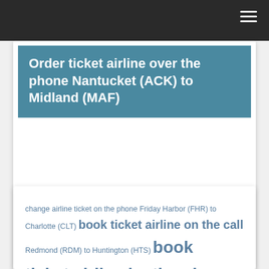Order ticket airline over the phone Nantucket (ACK) to Midland (MAF)
change airline ticket on the phone Friday Harbor (FHR) to Charlotte (CLT) book ticket airline on the call Redmond (RDM) to Huntington (HTS) book ticket airline by the phone Erie